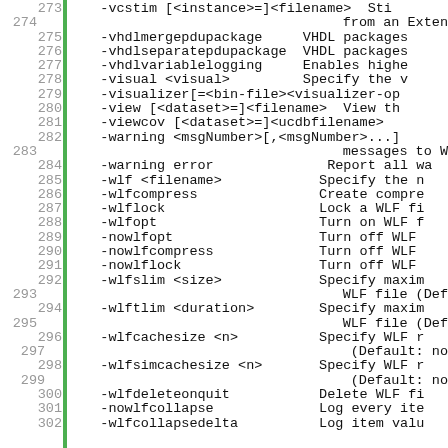Code listing lines 273-302 showing command-line options for a simulator tool including -vcstim, -vhdlmergepdupackage, -vhdlseparatepdupackage, -vhdlvariablelogging, -visual, -visualizer, -view, -viewcov, -warning, -warning error, -wlf, -wlfcompress, -wlflock, -wlfopt, -nowlfopt, -nowlfcompress, -nowlflock, -wlfslim, -wlftlim, -wlfcachesize, -wlfsimcachesize, -wlfdeleteonquit, -nowlfcollapse, -wlfcollapsedelta